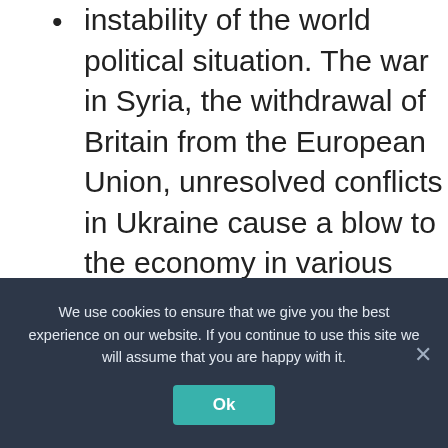instability of the world political situation. The war in Syria, the withdrawal of Britain from the European Union, unresolved conflicts in Ukraine cause a blow to the economy in various countries, and this inevitably affects the prices of energy carriers.
it is impossible to exclude the impact on quotes of oil and natural disasters.
We use cookies to ensure that we give you the best experience on our website. If you continue to use this site we will assume that you are happy with it.